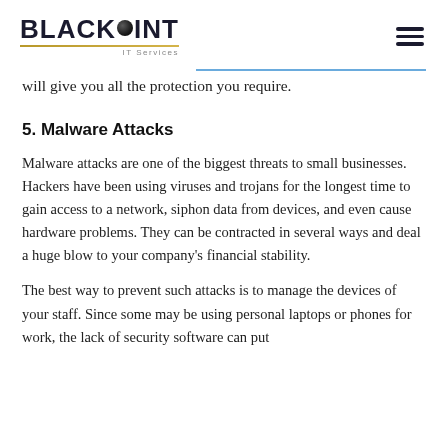BLACKPOINT IT Services
will give you all the protection you require.
5. Malware Attacks
Malware attacks are one of the biggest threats to small businesses. Hackers have been using viruses and trojans for the longest time to gain access to a network, siphon data from devices, and even cause hardware problems. They can be contracted in several ways and deal a huge blow to your company's financial stability.
The best way to prevent such attacks is to manage the devices of your staff. Since some may be using personal laptops or phones for work, the lack of security software can put